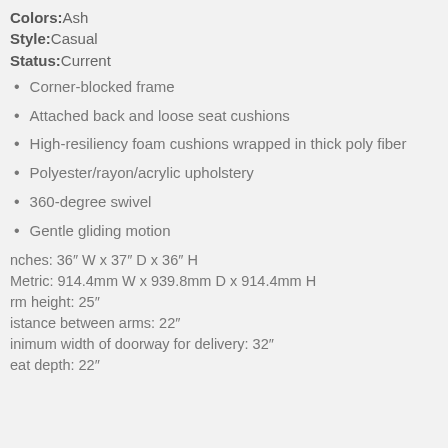Colors: Ash
Style: Casual
Status: Current
Corner-blocked frame
Attached back and loose seat cushions
High-resiliency foam cushions wrapped in thick poly fiber
Polyester/rayon/acrylic upholstery
360-degree swivel
Gentle gliding motion
Inches: 36" W x 37" D x 36" H
Metric: 914.4mm W x 939.8mm D x 914.4mm H
Arm height: 25"
Distance between arms: 22"
Minimum width of doorway for delivery: 32"
Seat depth: 22"